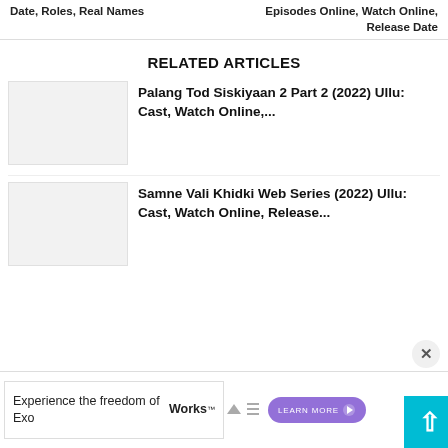Date, Roles, Real Names
Episodes Online, Watch Online, Release Date
RELATED ARTICLES
Palang Tod Siskiyaan 2 Part 2 (2022) Ullu: Cast, Watch Online,...
[Figure (photo): Thumbnail image placeholder for Palang Tod Siskiyaan 2 Part 2 article]
Samne Vali Khidki Web Series (2022) Ullu: Cast, Watch Online, Release...
[Figure (photo): Thumbnail image placeholder for Samne Vali Khidki Web Series article]
Experience the freedom of ExoWorks™
LEARN MORE